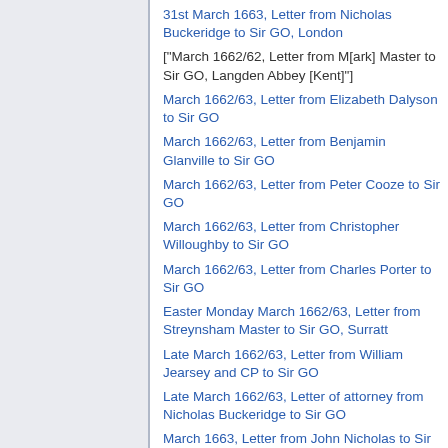31st March 1663, Letter from Nicholas Buckeridge to Sir GO, London
["March 1662/62, Letter from M[ark] Master to Sir GO, Langden Abbey [Kent]"]
March 1662/63, Letter from Elizabeth Dalyson to Sir GO
March 1662/63, Letter from Benjamin Glanville to Sir GO
March 1662/63, Letter from Peter Cooze to Sir GO
March 1662/63, Letter from Christopher Willoughby to Sir GO
March 1662/63, Letter from Charles Porter to Sir GO
Easter Monday March 1662/63, Letter from Streynsham Master to Sir GO, Surratt
Late March 1662/63, Letter from William Jearsey and CP to Sir GO
Late March 1662/63, Letter of attorney from Nicholas Buckeridge to Sir GO
March 1663, Letter from John Nicholas to Sir GO, Whitehall